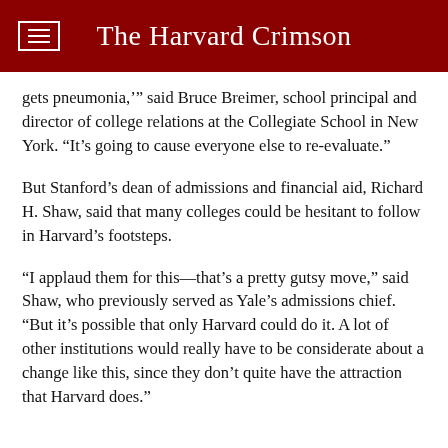The Harvard Crimson
gets pneumonia,’’’ said Bruce Breimer, school principal and director of college relations at the Collegiate School in New York. “It’s going to cause everyone else to re-evaluate.”
But Stanford’s dean of admissions and financial aid, Richard H. Shaw, said that many colleges could be hesitant to follow in Harvard’s footsteps.
“I applaud them for this—that’s a pretty gutsy move,” said Shaw, who previously served as Yale’s admissions chief. “But it’s possible that only Harvard could do it. A lot of other institutions would really have to be considerate about a change like this, since they don’t quite have the attraction that Harvard does.”